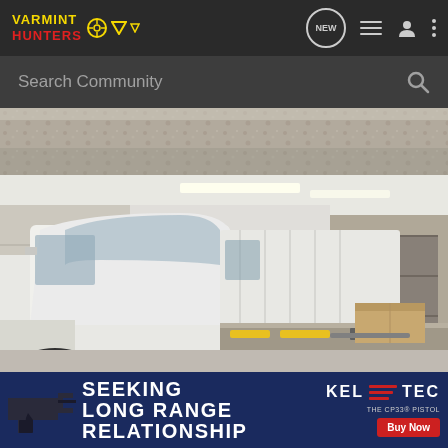VARMINT HUNTERS
Search Community
[Figure (photo): Partial image strip showing gravel or textured ground surface]
[Figure (photo): White pickup truck inside a commercial garage or workshop. The truck cab is visible with tools and a cardboard box on a workbench to the right. Industrial lighting hangs from the ceiling.]
[Figure (infographic): Advertisement banner for Kel-Tec CP33 pistol. Dark navy background with a silhouette of a pistol on the left. Text reads: SEEKING LONG RANGE RELATIONSHIP. Kel-Tec logo with red stripes on right. Red Buy Now button. Small text: THE CP33 PISTOL.]